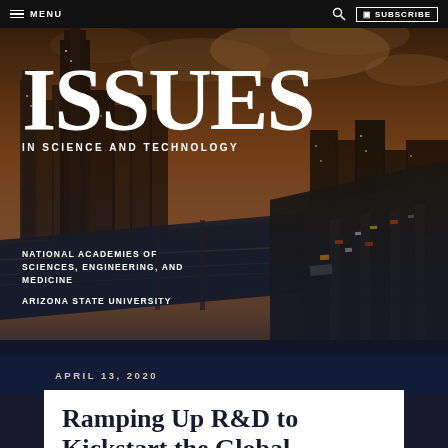MENU | SUBSCRIBE
[Figure (photo): Aerial/elevated view of a city skyline with tall skyscrapers under dramatic sunset/stormy sky, with a busy multi-lane highway in the foreground near a waterway. The ISSUES in Science and Technology magazine logo and publication details are overlaid.]
ISSUES IN SCIENCE AND TECHNOLOGY
NATIONAL ACADEMIES OF SCIENCES, ENGINEERING, AND MEDICINE
ARIZONA STATE UNIVERSITY
APRIL 13, 2020
Ramping Up R&D to Kickstart the Global